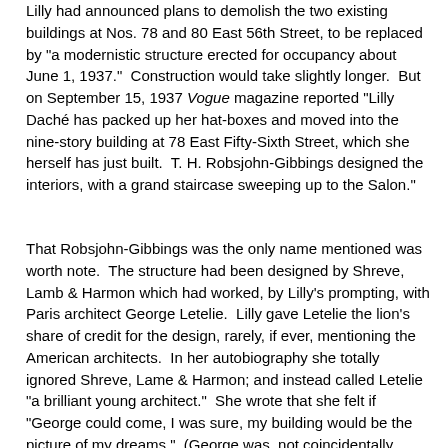Lilly had announced plans to demolish the two existing buildings at Nos. 78 and 80 East 56th Street, to be replaced by "a modernistic structure erected for occupancy about June 1, 1937."  Construction would take slightly longer.  But on September 15, 1937 Vogue magazine reported "Lilly Daché has packed up her hat-boxes and moved into the nine-story building at 78 East Fifty-Sixth Street, which she herself has just built.  T. H. Robsjohn-Gibbings designed the interiors, with a grand staircase sweeping up to the Salon."
That Robsjohn-Gibbings was the only name mentioned was worth note.  The structure had been designed by Shreve, Lamb & Harmon which had worked, by Lilly's prompting, with Paris architect George Letelie.  Lilly gave Letelie the lion's share of credit for the design, rarely, if ever, mentioning the American architects.  In her autobiography she totally ignored Shreve, Lame & Harmon; and instead called Letelie "a brilliant young architect."  She wrote that she felt if "George could come, I was sure, my building would be the picture of my dreams."  (George was, not coincidentally, Lilly's brother-in-law; the husband of Jean Despres' sister, Marguerite.)